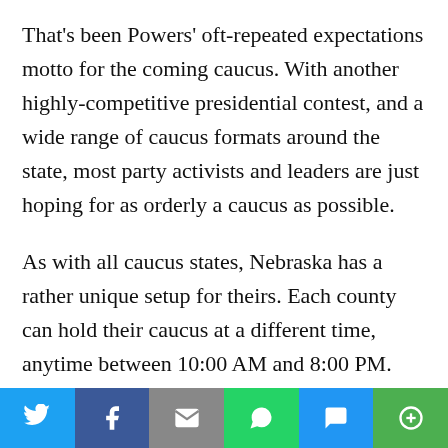That's been Powers' oft-repeated expectations motto for the coming caucus. With another highly-competitive presidential contest, and a wide range of caucus formats around the state, most party activists and leaders are just hoping for as orderly a caucus as possible.
As with all caucus states, Nebraska has a rather unique setup for theirs. Each county can hold their caucus at a different time, anytime between 10:00 AM and 8:00 PM. Douglas County (Omaha) goes in the morning, while Lancaster County (Lincoln) is in the evening. The counties also decide how they divide up their caucus. Douglas holds a caucus in each legislative district. Sarpy